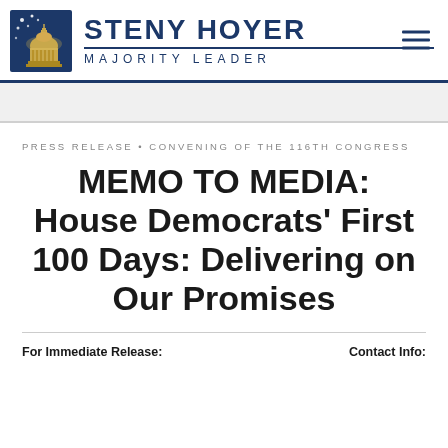STENY HOYER MAJORITY LEADER
PRESS RELEASE • CONVENING OF THE 116TH CONGRESS
MEMO TO MEDIA: House Democrats' First 100 Days: Delivering on Our Promises
For Immediate Release:
Contact Info: